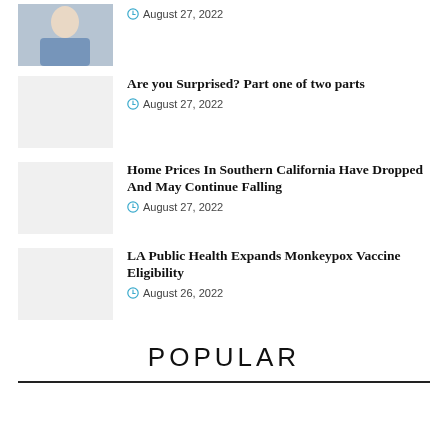[Figure (photo): Partial photo of a woman in a blue jacket at top left]
August 27, 2022
Are you Surprised? Part one of two parts
[Figure (photo): Placeholder thumbnail image]
August 27, 2022
Home Prices In Southern California Have Dropped And May Continue Falling
[Figure (photo): Placeholder thumbnail image]
August 27, 2022
LA Public Health Expands Monkeypox Vaccine Eligibility
[Figure (photo): Placeholder thumbnail image]
August 26, 2022
POPULAR